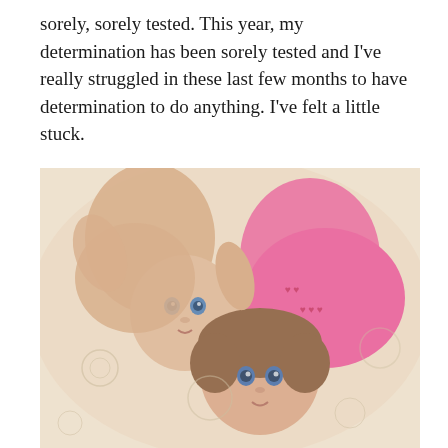sorely, sorely tested. This year, my determination has been sorely tested and I've really struggled in these last few months to have determination to do anything. I've felt a little stuck.
[Figure (photo): Two young children lying down looking up at the camera. One is a baby without a shirt, the other is a toddler wearing a pink top with red heart patterns. Both have blue eyes. They appear to be lying on a light-colored surface.]